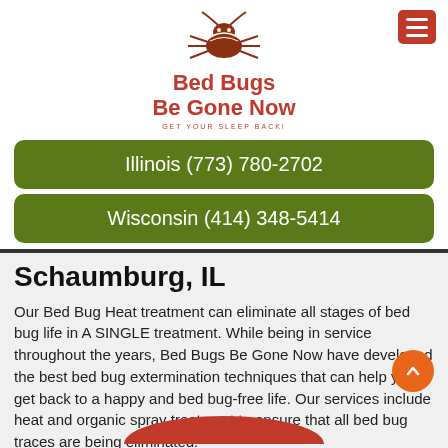[Figure (logo): Bed Bugs Be Gone Now logo with illustrated bed bug above text and tagline GET YOUR SLEEP BACK!]
Illinois (773) 780-2702
Wisconsin (414) 348-5414
Schaumburg, IL
Our Bed Bug Heat treatment can eliminate all stages of bed bug life in A SINGLE treatment. While being in service throughout the years, Bed Bugs Be Gone Now have developed the best bed bug extermination techniques that can help you get back to a happy and bed bug-free life. Our services include heat and organic spray treatment to ensure that all bed bug traces are being eliminated.